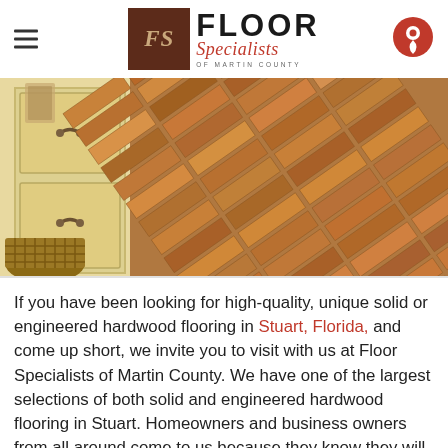Floor Specialists of Martin County
[Figure (photo): Close-up photo of hardwood flooring installed in herringbone pattern next to cream-colored cabinetry with dark drawer pulls and a woven basket.]
If you have been looking for high-quality, unique solid or engineered hardwood flooring in Stuart, Florida, and come up short, we invite you to visit with us at Floor Specialists of Martin County. We have one of the largest selections of both solid and engineered hardwood flooring in Stuart. Homeowners and business owners from all around come to us because they know they will